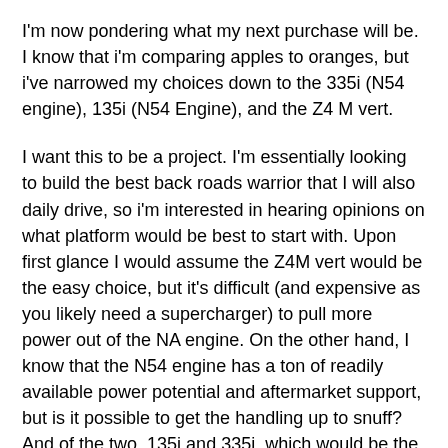I'm now pondering what my next purchase will be. I know that i'm comparing apples to oranges, but i've narrowed my choices down to the 335i (N54 engine), 135i (N54 Engine), and the Z4 M vert.
I want this to be a project. I'm essentially looking to build the best back roads warrior that I will also daily drive, so i'm interested in hearing opinions on what platform would be best to start with. Upon first glance I would assume the Z4M vert would be the easy choice, but it's difficult (and expensive as you likely need a supercharger) to pull more power out of the NA engine. On the other hand, I know that the N54 engine has a ton of readily available power potential and aftermarket support, but is it possible to get the handling up to snuff? And of the two, 135i and 335i, which would be the better starting platform?
Appreciate any insight. I'm sure I'm not the only one who has considered these three options. It's an interesting debate.